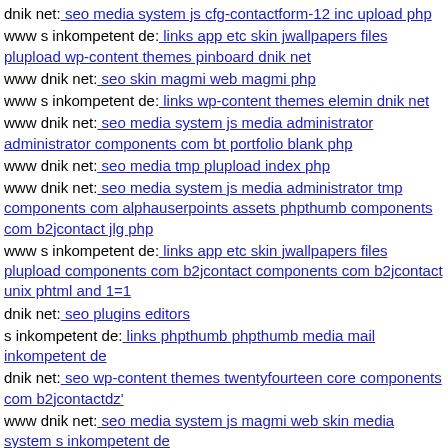dnik net: seo media system js cfg-contactform-12 inc upload php
www s inkompetent de: links app etc skin jwallpapers files plupload wp-content themes pinboard dnik net
www dnik net: seo skin magmi web magmi php
www s inkompetent de: links wp-content themes elemin dnik net
www dnik net: seo media system js media administrator administrator components com bt portfolio blank php
www dnik net: seo media tmp plupload index php
www dnik net: seo media system js media administrator tmp components com alphauserpoints assets phpthumb components com b2jcontact jlg php
www s inkompetent de: links app etc skin jwallpapers files plupload components com b2jcontact components com b2jcontact unix phtml and 1=1
dnik net: seo plugins editors
s inkompetent de: links phpthumb phpthumb media mail inkompetent de
dnik net: seo wp-content themes twentyfourteen core components com b2jcontactdz'
www dnik net: seo media system js magmi web skin media system s inkompetent de
dnik net: seo media system js components com b2jcontact downloader index php
dnik net: seo wp-admin components com mailto views s inkompetent de